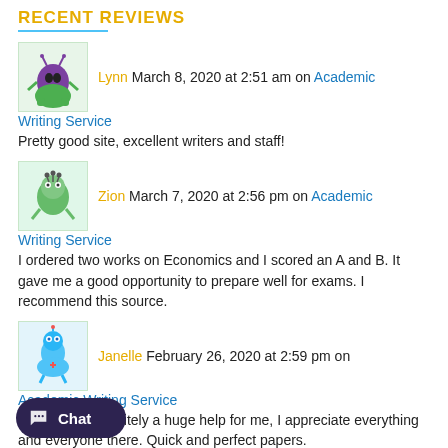RECENT REVIEWS
Lynn March 8, 2020 at 2:51 am on Academic Writing Service
Pretty good site, excellent writers and staff!
Zion March 7, 2020 at 2:56 pm on Academic Writing Service
I ordered two works on Economics and I scored an A and B. It gave me a good opportunity to prepare well for exams. I recommend this source.
Janelle February 26, 2020 at 2:59 pm on Academic Writing Service
Thank you! Definitely a huge help for me, I appreciate everything and everyone there. Quick and perfect papers.